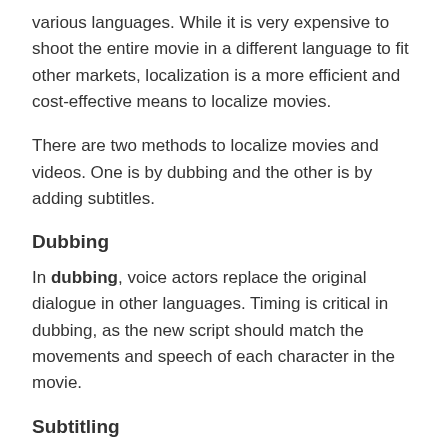various languages. While it is very expensive to shoot the entire movie in a different language to fit other markets, localization is a more efficient and cost-effective means to localize movies.
There are two methods to localize movies and videos. One is by dubbing and the other is by adding subtitles.
Dubbing
In dubbing, voice actors replace the original dialogue in other languages. Timing is critical in dubbing, as the new script should match the movements and speech of each character in the movie.
Subtitling